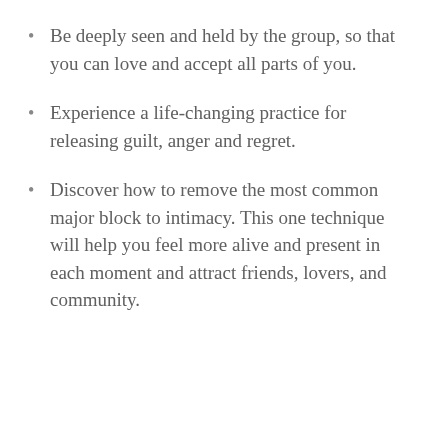Be deeply seen and held by the group, so that you can love and accept all parts of you.
Experience a life-changing practice for releasing guilt, anger and regret.
Discover how to remove the most common major block to intimacy. This one technique will help you feel more alive and present in each moment and attract friends, lovers, and community.